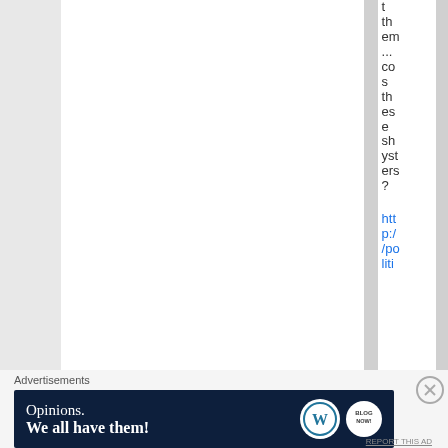t th em ... co s th es e sh yst ers ?
htt p:/ /po liti
Advertisements
[Figure (infographic): Dark navy advertisement banner reading 'Opinions. We all have them!' with WordPress and Blog.com logos on the right]